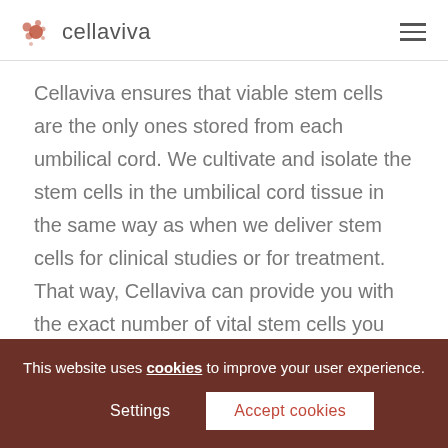cellaviva
Cellaviva ensures that viable stem cells are the only ones stored from each umbilical cord. We cultivate and isolate the stem cells in the umbilical cord tissue in the same way as when we deliver stem cells for clinical studies or for treatment. That way, Cellaviva can provide you with the exact number of vital stem cells you have available in the freezer. The laboratory is AABB accredited and the staff are experts in stem cell processing.
This website uses cookies to improve your user experience. Settings Accept cookies